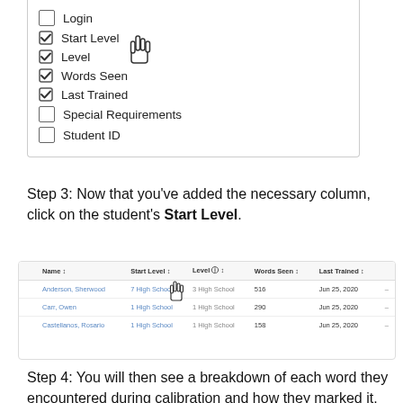[Figure (screenshot): Dropdown checkbox panel showing column options: Login (unchecked), Start Level (checked, with cursor hand icon), Level (checked), Words Seen (checked), Last Trained (checked), Special Requirements (unchecked), Student ID (unchecked)]
Step 3: Now that you've added the necessary column, click on the student's Start Level.
[Figure (screenshot): Table screenshot showing student list with columns: Name, Start Level, Level, Words Seen, Last Trained. Rows: Anderson, Sherwood (7 High School, 3 High School, 516, Jun 25, 2020); Carr, Owen (1 High School, 1 High School, 290, Jun 25, 2020); Castellanos, Rosario (1 High School, 1 High School, 158, Jun 25, 2020). Cursor hand over Start Level column.]
Step 4: You will then see a breakdown of each word they encountered during calibration and how they marked it.